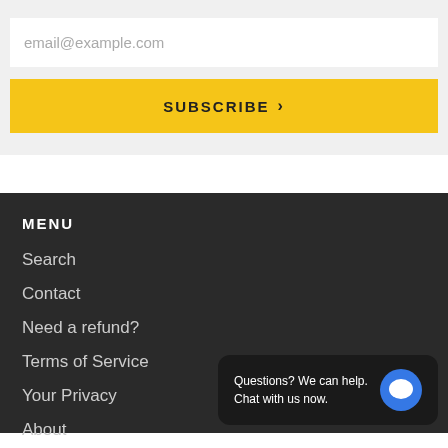email@example.com
SUBSCRIBE »
MENU
Search
Contact
Need a refund?
Terms of Service
Your Privacy
About
Questions? We can help. Chat with us now.